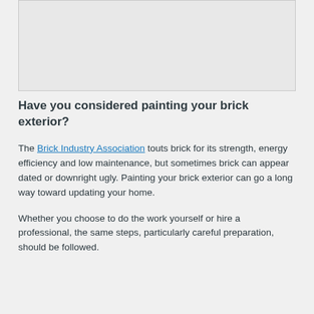[Figure (other): Image placeholder at top of page, light gray rectangle]
Have you considered painting your brick exterior?
The Brick Industry Association touts brick for its strength, energy efficiency and low maintenance, but sometimes brick can appear dated or downright ugly. Painting your brick exterior can go a long way toward updating your home.
Whether you choose to do the work yourself or hire a professional, the same steps, particularly careful preparation, should be followed.